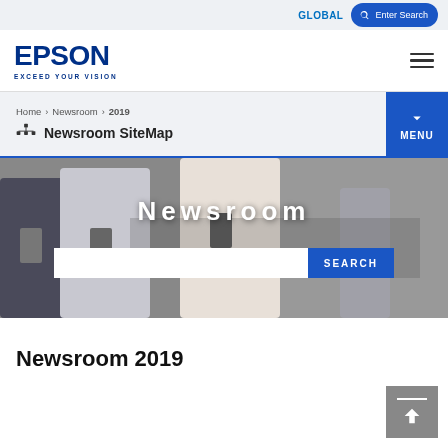GLOBAL | Enter Search
[Figure (logo): Epson logo with tagline EXCEED YOUR VISION]
Home > Newsroom > 2019
Newsroom SiteMap
[Figure (photo): Hero banner with people using smartphones, overlaid with 'Newsroom' text and search bar]
Newsroom 2019